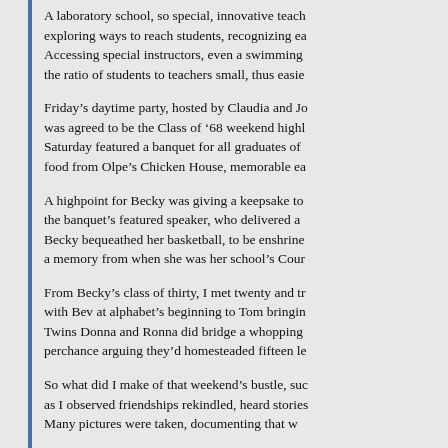A laboratory school, so special, innovative teach exploring ways to reach students, recognizing ea Accessing special instructors, even a swimming the ratio of students to teachers small, thus easie
Friday's daytime party, hosted by Claudia and Jo was agreed to be the Class of '68 weekend highl Saturday featured a banquet for all graduates of food from Olpe's Chicken House, memorable ea
A highpoint for Becky was giving a keepsake to the banquet's featured speaker, who delivered a Becky bequeathed her basketball, to be enshrine a memory from when she was her school's Cour
From Becky's class of thirty, I met twenty and tr with Bev at alphabet's beginning to Tom bringin Twins Donna and Ronna did bridge a whopping perchance arguing they'd homesteaded fifteen le
So what did I make of that weekend's bustle, suc as I observed friendships rekindled, heard stories Many pictures were taken, documenting that w